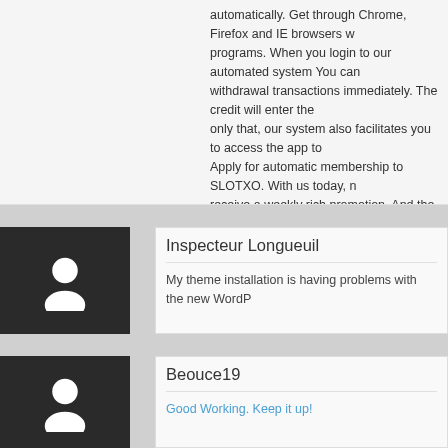automatically. Get through Chrome, Firefox and IE browsers w... programs. When you login to our automated system You can ... withdrawal transactions immediately. The credit will enter the ... only that, our system also facilitates you to access the app to ... Apply for automatic membership to SLOTXO. With us today, n... receive a weekly rich promotion. And the promotion to win rich slotxo Here..one place Give more than where
Inspecteur Longueuil
My theme installation is having problems with the new WordP...
Beouce19
Good Working. Keep it up!